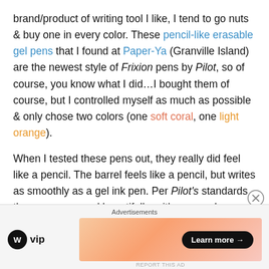brand/product of writing tool I like, I tend to go nuts & buy one in every color. These pencil-like erasable gel pens that I found at Paper-Ya (Granville Island) are the newest style of Frixion pens by Pilot, so of course, you know what I did…I bought them of course, but I controlled myself as much as possible & only chose two colors (one soft coral, one light orange).
When I tested these pens out, they really did feel like a pencil. The barrel feels like a pencil, but writes as smoothly as a gel ink pen. Per Pilot's standards these pens erased beautifully, with no smudges, residue, or tears in the paper. I chose these two colors out of all of the other pastel colors, mostly because I am a creature of
[Figure (other): Advertisement bar at the bottom showing WordPress VIP logo and a peach/coral gradient banner with a 'Learn more →' button]